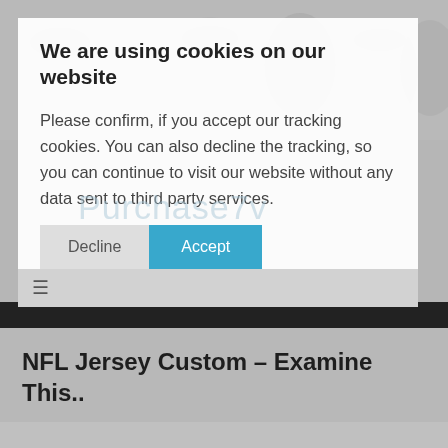[Figure (screenshot): Grayscale crowd/festival background photo behind cookie consent modal]
We are using cookies on our website
Please confirm, if you accept our tracking cookies. You can also decline the tracking, so you can continue to visit our website without any data sent to third party services.
Decline   Accept
NFL Jersey Custom – Examine This..
A never-ending number of pro football jerseys can be bought annually globally. Fans purchase them to wear to